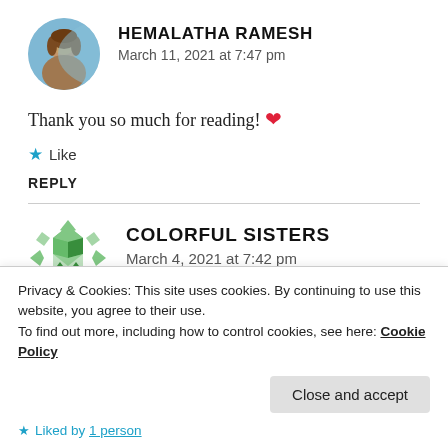[Figure (photo): Circular avatar photo of Hemalatha Ramesh, showing a person against a blue sky background]
HEMALATHA RAMESH
March 11, 2021 at 7:47 pm
Thank you so much for reading! ❤
★ Like
REPLY
[Figure (illustration): Circular avatar logo for Colorful Sisters, showing a green and white geometric diamond/house pattern]
COLORFUL SISTERS
March 4, 2021 at 7:42 pm
Liked by 1 person
Privacy & Cookies: This site uses cookies. By continuing to use this website, you agree to their use.
To find out more, including how to control cookies, see here: Cookie Policy
Close and accept